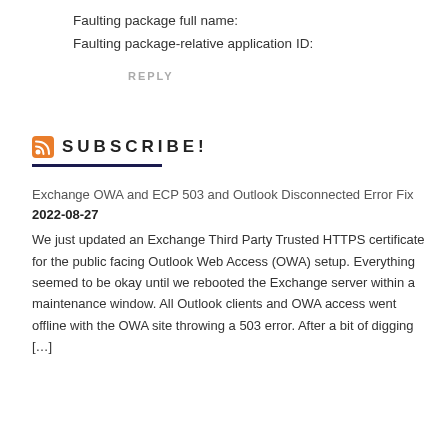Faulting package full name:
Faulting package-relative application ID:
REPLY
SUBSCRIBE!
Exchange OWA and ECP 503 and Outlook Disconnected Error Fix 2022-08-27
We just updated an Exchange Third Party Trusted HTTPS certificate for the public facing Outlook Web Access (OWA) setup. Everything seemed to be okay until we rebooted the Exchange server within a maintenance window. All Outlook clients and OWA access went offline with the OWA site throwing a 503 error. After a bit of digging [...]